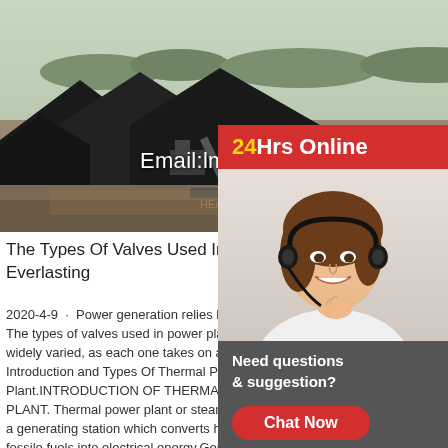[Figure (photo): Aerial view of a coal mining or power plant site with large coal stockpiles, heavy machinery, and conveyors. Site landscape with hills and trees in background.]
Email:lmzgvip@gmail.co
The Types Of Valves Used In Power P... Everlasting
2020-4-9 · Power generation relies heavily... The types of valves used in power plants are widely varied, as each one takes on a differe... Introduction and Types Of Thermal Power Plant.INTRODUCTION OF THERMAL POW... PLANT. Thermal power plant or steam power plant is a generating station which converts heat energy of fossile fuels into electrical energy.Generally bituminous,brown or peat type coal are used as the fuel of coal basesd thermal power plant.. In a thermal power palnt, coal is burnt in a big boiler which produces steam at high pressure and
[Figure (photo): Customer service agent - woman with headset smiling, with 24Hrs Online banner and Need questions & suggestion? chat widget]
24Hrs Online
Need questions & suggestion?
Chat Now